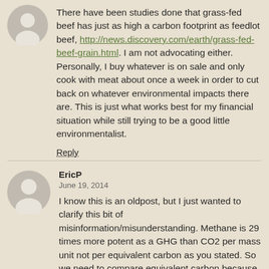There have been studies done that grass-fed beef has just as high a carbon footprint as feedlot beef, http://news.discovery.com/earth/grass-fed-beef-grain.html. I am not advocating either. Personally, I buy whatever is on sale and only cook with meat about once a week in order to cut back on whatever environmental impacts there are. This is just what works best for my financial situation while still trying to be a good little environmentalist.
Reply
EricP
June 19, 2014
I know this is an oldpost, but I just wanted to clarify this bit of misinformation/misunderstanding. Methane is 29 times more potent as a GHG than CO2 per mass unit not per equivalent carbon as you stated. So we need to compare equivalent carbon because for a cow to make a single methane it needs a single CO2, not equivalent